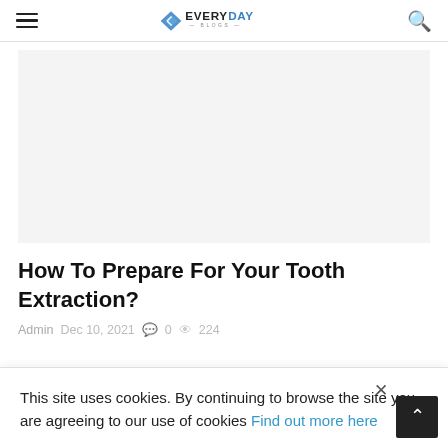EVERYDAY BLOGS
[Figure (photo): Light grey placeholder image for article about tooth extraction]
How To Prepare For Your Tooth Extraction?
Admin  Dec 10, 2021  0  224
This site uses cookies. By continuing to browse the site you are agreeing to our use of cookies Find out more here